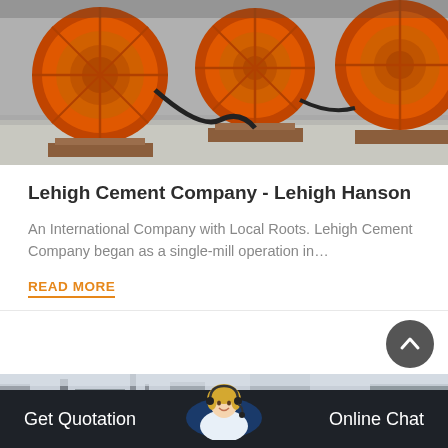[Figure (photo): Orange industrial cement mill / grinding machinery sitting on a warehouse floor]
Lehigh Cement Company - Lehigh Hanson
An International Company with Local Roots. Lehigh Cement Company began as a single-mill operation in…
READ MORE
[Figure (photo): Cement factory exterior with industrial structures and scaffolding, partially visible]
Get Quotation   Online Chat